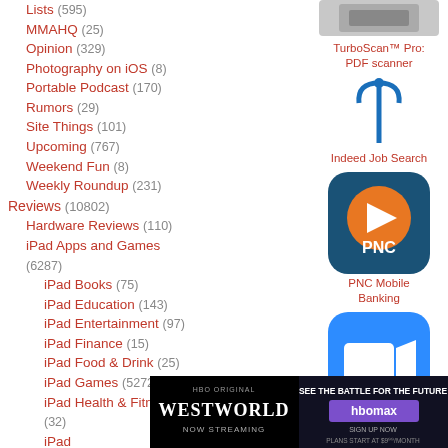Lists (595)
MMAHQ (25)
Opinion (329)
Photography on iOS (8)
Portable Podcast (170)
Rumors (29)
Site Things (101)
Upcoming (767)
Weekend Fun (8)
Weekly Roundup (231)
Reviews (10802)
Hardware Reviews (110)
iPad Apps and Games (6287)
iPad Books (75)
iPad Education (143)
iPad Entertainment (97)
iPad Finance (15)
iPad Food & Drink (25)
iPad Games (5272)
iPad Health & Fitness (32)
iPad (partial)
iPad (partial)
[Figure (screenshot): TurboScan Pro app icon - scanner device image]
TurboScan™ Pro: PDF scanner
[Figure (logo): Indeed Job Search app icon - blue microphone/pin shape]
Indeed Job Search
[Figure (logo): PNC Mobile Banking app icon - blue rounded square with orange PNC logo]
PNC Mobile Banking
[Figure (logo): ZOOM Cloud Meetings app icon - blue rounded square with white video camera]
ZOOM Cloud Meetings
[Figure (screenshot): HBO Westworld ad - Now Streaming]
[Figure (screenshot): HBO Max ad - See the Battle for the Future, Sign up now, plans start at $9.99/month]